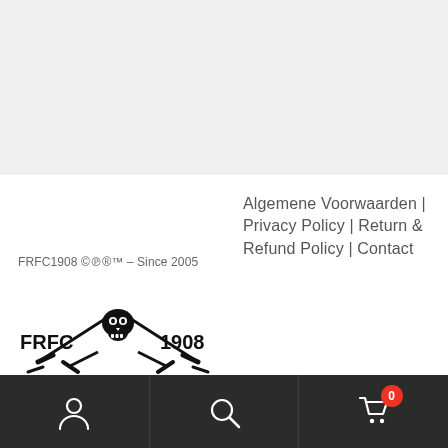[Figure (other): Gray background area at top of page]
FRFC1908 ©℗®™ – Since 2005
Algemene Voorwaarden | Privacy Policy | Return & Refund Policy | Contact
[Figure (logo): FRFC 1908 pirate skull and crossed sabers logo]
Bottom navigation bar with user, search, and cart icons